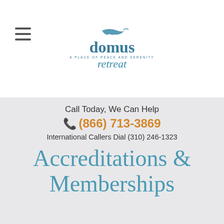[Figure (logo): Domus Retreat logo — stylized bird/wave above 'domus' in teal serif font, with tagline 'A PLACE OF PEACE AND SERENITY' and 'retreat' below in teal]
Call Today, We Can Help
📞 (866) 713-3869
International Callers Dial (310) 246-1323
Accreditations & Memberships